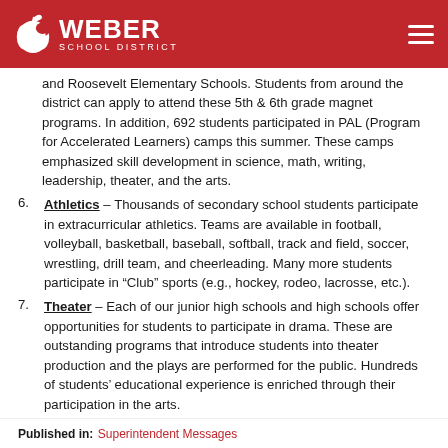Weber School District
and Roosevelt Elementary Schools. Students from around the district can apply to attend these 5th & 6th grade magnet programs. In addition, 692 students participated in PAL (Program for Accelerated Learners) camps this summer. These camps emphasized skill development in science, math, writing, leadership, theater, and the arts.
Athletics – Thousands of secondary school students participate in extracurricular athletics. Teams are available in football, volleyball, basketball, baseball, softball, track and field, soccer, wrestling, drill team, and cheerleading. Many more students participate in “Club” sports (e.g., hockey, rodeo, lacrosse, etc.).
Theater – Each of our junior high schools and high schools offer opportunities for students to participate in drama. These are outstanding programs that introduce students into theater production and the plays are performed for the public. Hundreds of students’ educational experience is enriched through their participation in the arts.
Published in: Superintendent Messages